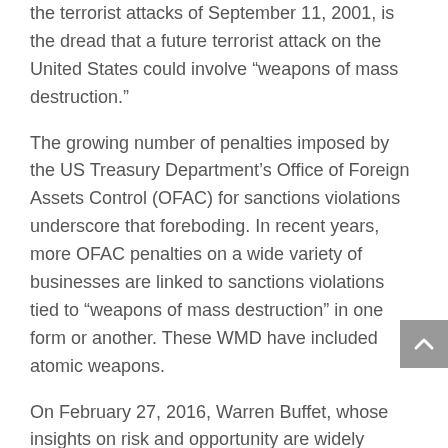the terrorist attacks of September 11, 2001, is the dread that a future terrorist attack on the United States could involve “weapons of mass destruction.”
The growing number of penalties imposed by the US Treasury Department’s Office of Foreign Assets Control (OFAC) for sanctions violations underscore that foreboding. In recent years, more OFAC penalties on a wide variety of businesses are linked to sanctions violations tied to “weapons of mass destruction” in one form or another. These WMD have included atomic weapons.
On February 27, 2016, Warren Buffet, whose insights on risk and opportunity are widely respected, gave a chilling assessment in his annual letter to the stockholders of Berkshire Hathaway. He said a “cyber, biological, nuclear or chemical attack in the United States” is a “clear, present and